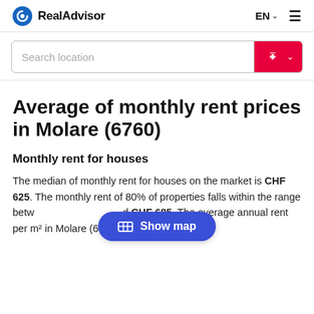RealAdvisor  EN  ☰
[Figure (screenshot): Search location input bar with Swiss flag and dropdown caret]
Average of monthly rent prices in Molare (6760)
Monthly rent for houses
The median of monthly rent for houses on the market is CHF 625. The monthly rent of 80% of properties falls within the range between [obscured] and CHF 685. The average annual rent per m² in Molare (6760) is CHF 140 [text continues below]
[Figure (other): Show map button overlay]